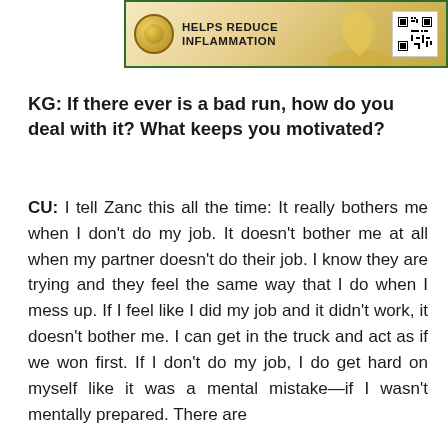[Figure (illustration): Advertisement banner with green border showing a gold coin icon with a leaf/person design, bold text reading 'HELPS REDUCE INFLAMMATION', decorative gold swirl/liquid design, and a QR/barcode in the top right corner.]
KG: If there ever is a bad run, how do you deal with it? What keeps you motivated?
CU: I tell Zanc this all the time: It really bothers me when I don't do my job. It doesn't bother me at all when my partner doesn't do their job. I know they are trying and they feel the same way that I do when I mess up. If I feel like I did my job and it didn't work, it doesn't bother me. I can get in the truck and act as if we won first. If I don't do my job, I do get hard on myself like it was a mental mistake—if I wasn't mentally prepared. There are